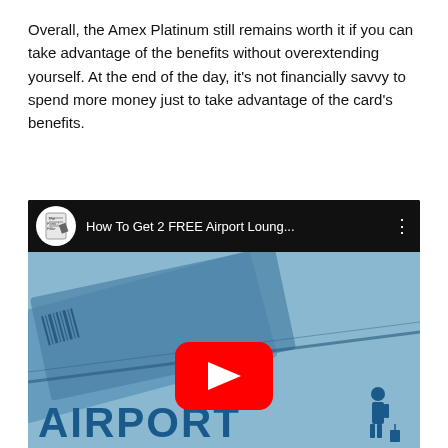Overall, the Amex Platinum still remains worth it if you can take advantage of the benefits without overextending yourself. At the end of the day, it's not financially savvy to spend more money just to take advantage of the card's benefits.
[Figure (screenshot): YouTube video embed showing 'How To Get 2 FREE Airport Loung...' by The Form Filler channel, with a thumbnail showing airport lounge text and a red YouTube play button]